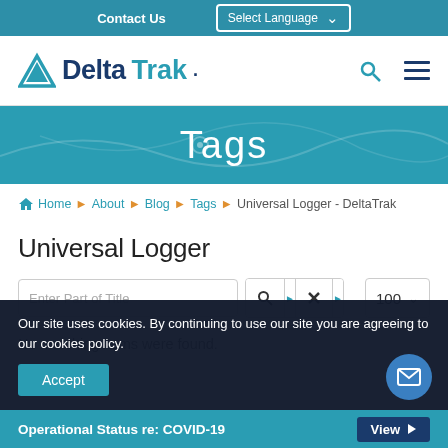Contact Us | Select Language
[Figure (logo): DeltaTrak logo with teal triangle and company name]
Tags
Home › About › Blog › Tags › Universal Logger - DeltaTrak
Universal Logger
Enter Part of Title
No matching items were found.
Our site uses cookies. By continuing to use our site you are agreeing to our cookies policy.
Accept
Operational Status re: COVID-19  View ▶